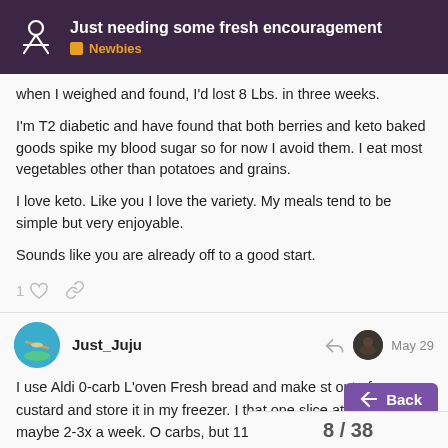Just needing some fresh encouragement — Newbies
when I weighed and found, I'd lost 8 Lbs. in three weeks.
I'm T2 diabetic and have found that both berries and keto baked goods spike my blood sugar so for now I avoid them. I eat most vegetables other than potatoes and grains.
I love keto. Like you I love the variety. My meals tend to be simple but very enjoyable.
Sounds like you are already off to a good start.
Just_Juju   May 29
I use Aldi 0-carb L'oven Fresh bread and make toast out of an egg custard and store it in my freezer. I eat that one slice at a time maybe 2-3x a week. O... carbs, but 11.6 fiber and 1.5 sugar alcoho...